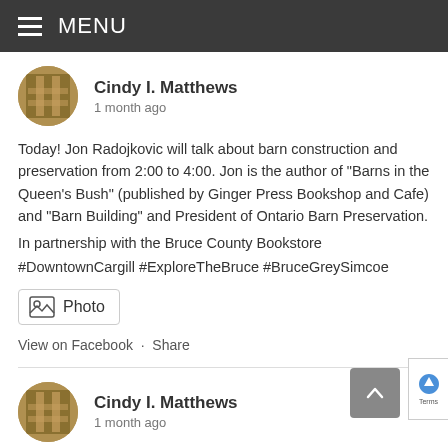MENU
Cindy I. Matthews
1 month ago
Today! Jon Radojkovic will talk about barn construction and preservation from 2:00 to 4:00. Jon is the author of "Barns in the Queen's Bush" (published by Ginger Press Bookshop and Cafe) and "Barn Building" and President of Ontario Barn Preservation.
In partnership with the Bruce County Bookstore
#DowntownCargill #ExploreTheBruce #BruceGreySimcoe
Photo
View on Facebook · Share
Cindy I. Matthews
1 month ago
I'm at The Mill Pond Gallery in Cargill where artist Kristina Maus is working at adding to some works-in-